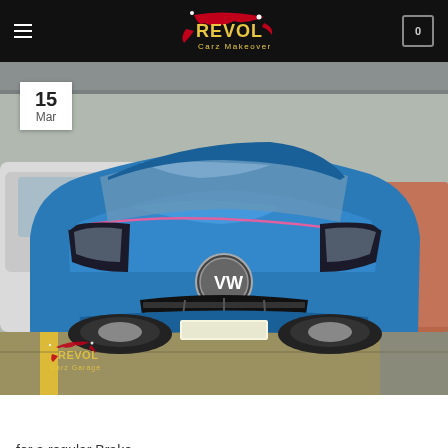Revol Carz Makeover
[Figure (photo): A blue Volkswagen Golf hatchback parked in a workshop/garage with other vehicles visible in the background. A Revol Carz Garage watermark logo is visible in the bottom-left of the photo. A date badge showing '15 Mar' overlays the top-left corner of the photo.]
[Figure (other): Chat with us on WhatsApp button (green rounded pill button with WhatsApp icon)]
for a regular Brake performance inspection. The Volkswagen Golf is on a regular